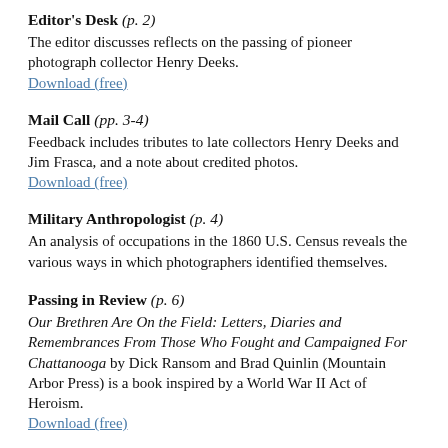Editor's Desk (p. 2)
The editor discusses reflects on the passing of pioneer photograph collector Henry Deeks.
Download (free)
Mail Call (pp. 3-4)
Feedback includes tributes to late collectors Henry Deeks and Jim Frasca, and a note about credited photos.
Download (free)
Military Anthropologist (p. 4)
An analysis of occupations in the 1860 U.S. Census reveals the various ways in which photographers identified themselves.
Passing in Review (p. 6)
Our Brethren Are On the Field: Letters, Diaries and Remembrances From Those Who Fought and Campaigned For Chattanooga by Dick Ransom and Brad Quinlin (Mountain Arbor Press) is a book inspired by a World War II Act of Heroism.
Download (free)